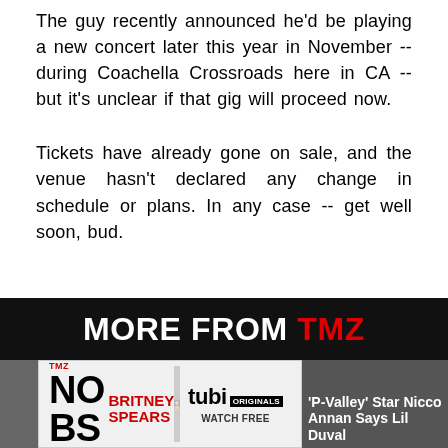The guy recently announced he'd be playing a new concert later this year in November -- during Coachella Crossroads here in CA -- but it's unclear if that gig will proceed now.
Tickets have already gone on sale, and the venue hasn't declared any change in schedule or plans. In any case -- get well soon, bud.
MORE FROM TMZ
[Figure (other): Advertisement banner: TMZ No BS Britney Spears with tubi Originals Watch Free]